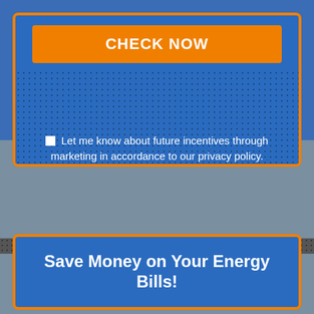CHECK NOW
Let me know about future incentives through marketing in accordance to our privacy policy.
Your information will be held securely & only used for this application. Please be as accurate as possible with the information you provide as false information could affect your application
Save Money on Your Energy Bills!